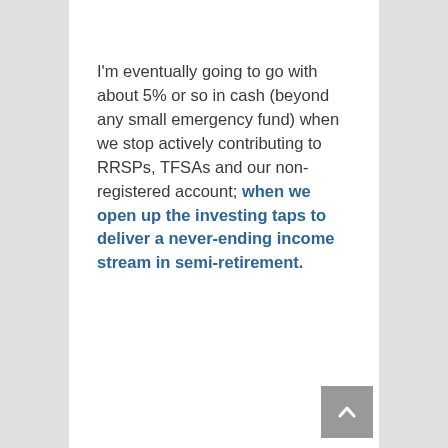I'm eventually going to go with about 5% or so in cash (beyond any small emergency fund) when we stop actively contributing to RRSPs, TFSAs and our non-registered account; when we open up the investing taps to deliver a never-ending income stream in semi-retirement.